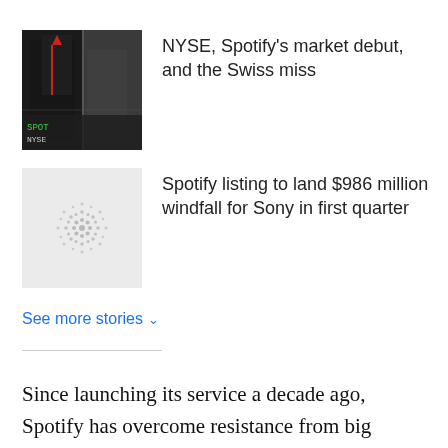[Figure (photo): Thumbnail image of NYSE stock exchange with flag]
NYSE, Spotify's market debut, and the Swiss miss
[Figure (logo): Spotify logo dot pattern on light grey background]
Spotify listing to land $986 million windfall for Sony in first quarter
See more stories
Since launching its service a decade ago, Spotify has overcome resistance from big record labels and some major music artists to transform how people listen to music. But it still does not make a profit and faces intense competition from Apple Inc and others.